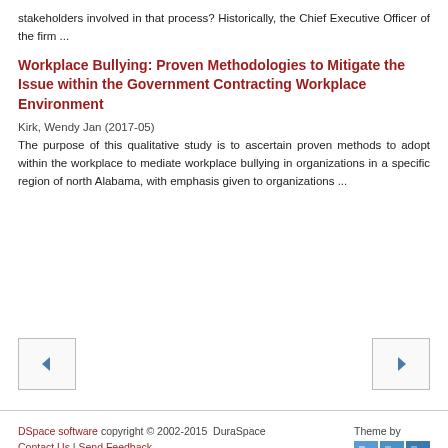stakeholders involved in that process? Historically, the Chief Executive Officer of the firm ...
Workplace Bullying: Proven Methodologies to Mitigate the Issue within the Government Contracting Workplace Environment
Kirk, Wendy Jan (2017-05)
The purpose of this qualitative study is to ascertain proven methods to adopt within the workplace to mediate workplace bullying in organizations in a specific region of north Alabama, with emphasis given to organizations ...
[Figure (other): Navigation buttons: left arrow (previous) and right arrow (next)]
DSpace software copyright © 2002-2015  DuraSpace  Contact Us | Send Feedback  Theme by @MIRE